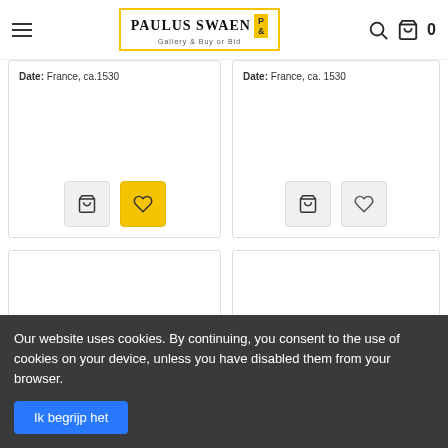Paulus Swaen Gallery & Buy or Bid — 0 items in cart
Date: France, ca.1530
Date: France, ca. 1530
[Figure (screenshot): Bottom-left product card, blank white image area]
[Figure (screenshot): Bottom-right product card, blank white image area]
Our website uses cookies. By continuing, you consent to the use of cookies on your device, unless you have disabled them from your browser.
Ik begrijp het